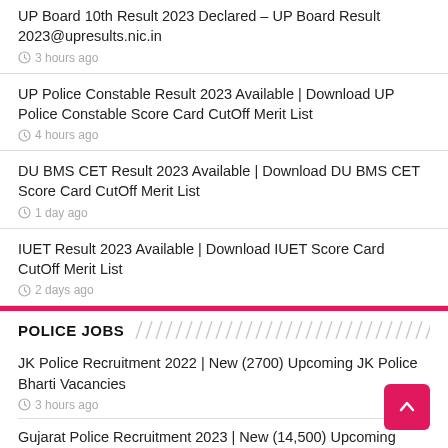UP Board 10th Result 2023 Declared – UP Board Result 2023@upresults.nic.in
3 hours ago
UP Police Constable Result 2023 Available | Download UP Police Constable Score Card CutOff Merit List
4 hours ago
DU BMS CET Result 2023 Available | Download DU BMS CET Score Card CutOff Merit List
1 day ago
IUET Result 2023 Available | Download IUET Score Card CutOff Merit List
2 days ago
POLICE JOBS
JK Police Recruitment 2022 | New (2700) Upcoming JK Police Bharti Vacancies
3 hours ago
Gujarat Police Recruitment 2023 | New (14,500) Upcoming Gujarat Police Bharti Vacancies